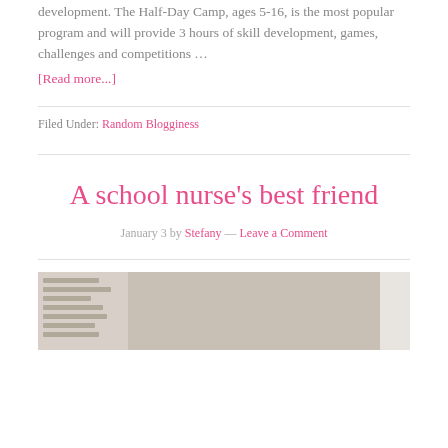development. The Half-Day Camp, ages 5-16, is the most popular program and will provide 3 hours of skill development, games, challenges and competitions ...
[Read more...]
Filed Under: Random Blogginess
A school nurse's best friend
January 3 by Stefany — Leave a Comment
[Figure (photo): Photo showing a wall with some papers or notices on the left side and a textured beige/tan wall on the right, with a small object visible at the right edge.]